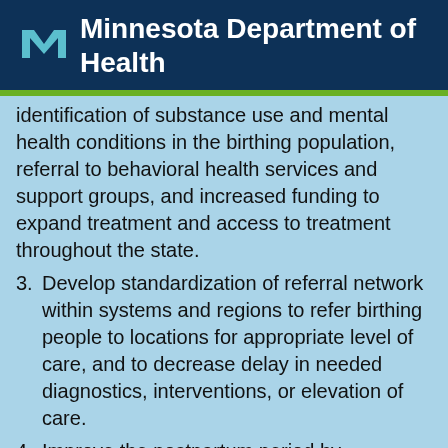Minnesota Department of Health
identification of substance use and mental health conditions in the birthing population, referral to behavioral health services and support groups, and increased funding to expand treatment and access to treatment throughout the state.
3. Develop standardization of referral network within systems and regions to refer birthing people to locations for appropriate level of care, and to decrease delay in needed diagnostics, interventions, or elevation of care.
4. Improve the postpartum period by